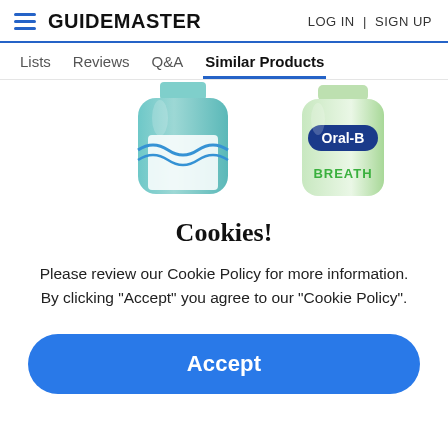GUIDEMASTER   LOG IN | SIGN UP
Lists   Reviews   Q&A   Similar Products
[Figure (photo): Two product bottles partially visible: a teal/green mouthwash bottle on the left and an Oral-B BREATH product bottle on the right]
Cookies!
Please review our Cookie Policy for more information. By clicking "Accept" you agree to our "Cookie Policy".
Accept